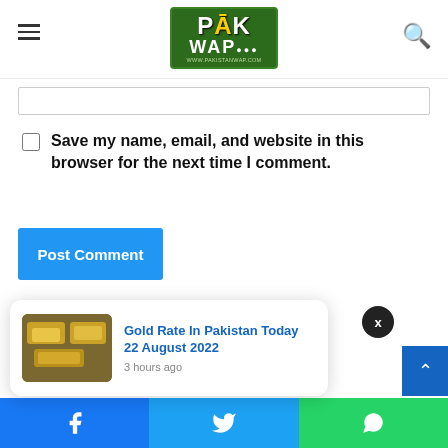PAK WAP - www.pakistanwap.com
[input field]
Save my name, email, and website in this browser for the next time I comment.
Post Comment
Gold Rate In Pakistan Today 22 August 2022 - 3 hours ago